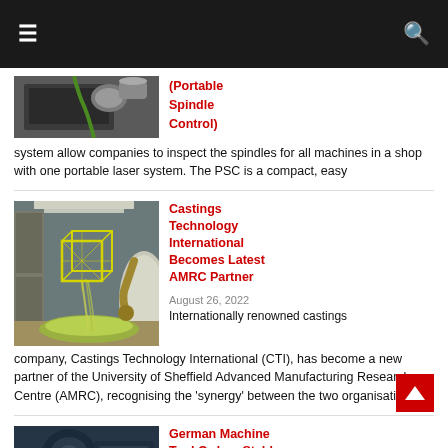Navigation bar with hamburger menu and search icon
[Figure (photo): Close-up of machine tool spindle components with green cable, partial view]
(Portable Spindle Control) system allow companies to inspect the spindles for all machines in a shop with one portable laser system. The PSC is a compact, easy
[Figure (photo): Castings manufacturing process showing a yellow wire-frame cubic structure being lifted from a casting pool with liquid metal]
Castings Technology International Becomes Latest AMRC Partner
August 26, 2022
Internationally renowned castings company, Castings Technology International (CTI), has become a new partner of the University of Sheffield Advanced Manufacturing Research Centre (AMRC), recognising the ‘synergy’ between the two organisations
[Figure (photo): Blue-toned close-up of a machine tool or drilling device]
German Machine Tool Orders Stable